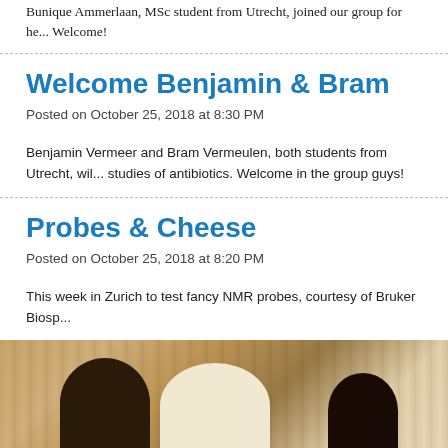Bunique Ammerlaan, MSc student from Utrecht, joined our group for he... Welcome!
Welcome Benjamin & Bram
Posted on October 25, 2018 at 8:30 PM
Benjamin Vermeer and Bram Vermeulen, both students from Utrecht, wil... studies of antibiotics. Welcome in the group guys!
Probes & Cheese
Posted on October 25, 2018 at 8:20 PM
This week in Zurich to test fancy NMR probes, courtesy of Bruker Biosp...
[Figure (photo): Photo of people seated at a table, viewed from behind, in a warm-lit room]